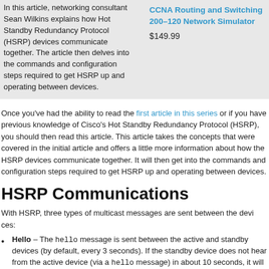In this article, networking consultant Sean Wilkins explains how Hot Standby Redundancy Protocol (HSRP) devices communicate together. The article then delves into the commands and configuration steps required to get HSRP up and operating between devices.
CCNA Routing and Switching 200-120 Network Simulator
$149.99
Once you've had the ability to read the first article in this series or if you have previous knowledge of Cisco's Hot Standby Redundancy Protocol (HSRP), you should then read this article. This article takes the concepts that were covered in the initial article and offers a little more information about how the HSRP devices communicate together. It will then get into the commands and configuration steps required to get HSRP up and operating between devices.
HSRP Communications
With HSRP, three types of multicast messages are sent between the devices:
Hello – The hello message is sent between the active and standby devices (by default, every 3 seconds). If the standby device does not hear from the active device (via a hello message) in about 10 seconds, it will take over the active role.
Resign – The resign message is sent by the active HSRP device when it is getting ready to go offline or relinquish the active role for some other reason. This message tells the standby router to be ready and